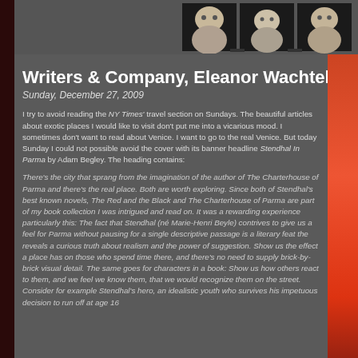[Figure (photo): Strip of black and white contact sheet photos showing faces/portraits at the top of the page]
Writers & Company, Eleanor Wachtel & Novel
Sunday, December 27, 2009
I try to avoid reading the NY Times' travel section on Sundays. The beautiful articles about exotic places I would like to visit don't put me into a vicarious mood. I sometimes don't want to read about Venice. I want to go to the real Venice. But today Sunday I could not possible avoid the cover with its banner headline Stendhal In Parma by Adam Begley. The heading contains:
There's the city that sprang from the imagination of the author of The Charterhouse of Parma and there's the real place. Both are worth exploring. Since both of Stendhal's best known novels, The Red and the Black and The Charterhouse of Parma are part of my book collection I was intrigued and read on. It was a rewarding experience particularly this: The fact that Stendhal (né Marie-Henri Beyle) contrives to give us a feel for Parma without pausing for a single descriptive passage is a literary feat the reveals a curious truth about realism and the power of suggestion. Show us the effect a place has on those who spend time there, and there's no need to supply brick-by-brick visual detail. The same goes for characters in a book: Show us how others react to them, and we feel we know them, that we would recognize them on the street. Consider for example Stendhal's hero, an idealistic youth who survives his impetuous decision to run off at age 16...